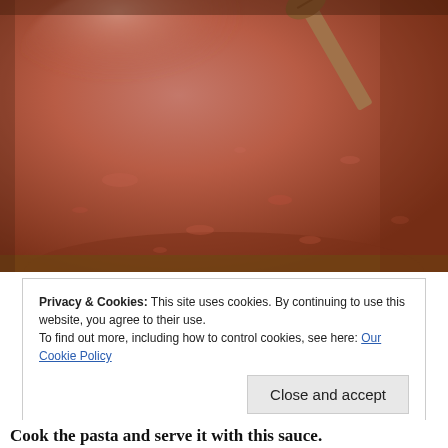[Figure (photo): Close-up photo of red tomato sauce simmering in a large pot, with a wooden spoon visible in the upper right corner. The sauce has a rich orange-red color with steam rising from the surface.]
Privacy & Cookies: This site uses cookies. By continuing to use this website, you agree to their use.
To find out more, including how to control cookies, see here: Our Cookie Policy
Close and accept
Cook the pasta and serve it with this sauce.